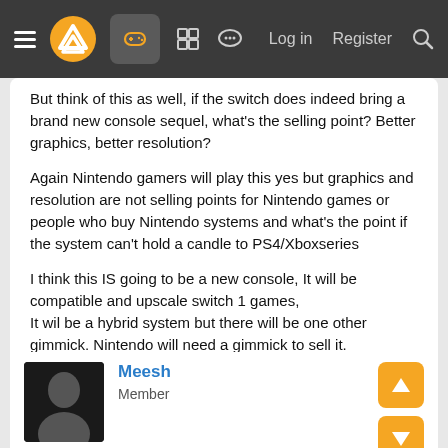Navigation bar with hamburger menu, logo, controller icon, grid icon, chat icon, Log in, Register, search
But think of this as well, if the switch does indeed bring a brand new console sequel, what's the selling point? Better graphics, better resolution?

Again Nintendo gamers will play this yes but graphics and resolution are not selling points for Nintendo games or people who buy Nintendo systems and what's the point if the system can't hold a candle to PS4/Xboxseries

I think this IS going to be a new console, It will be compatible and upscale switch 1 games,
It wil be a hybrid system but there will be one other gimmick. Nintendo will need a gimmick to sell it.
Meesh
Member